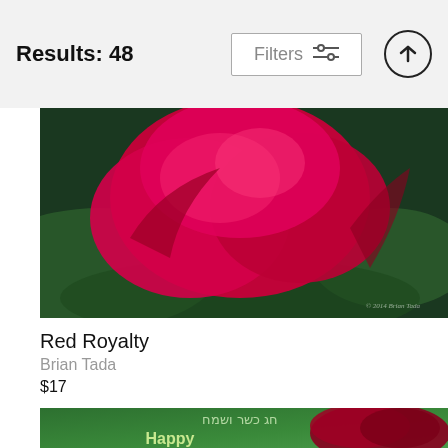Results: 48
[Figure (photo): Close-up photo of a red/magenta rose flower against dark green foliage background, with a watermark '© 2014 Brian Tada' in the lower right corner]
Red Royalty
Brian Tada
$17
[Figure (photo): Photo card showing a deep red rose with green background overlaid with Hebrew text and 'Happy Passover!' greeting text]